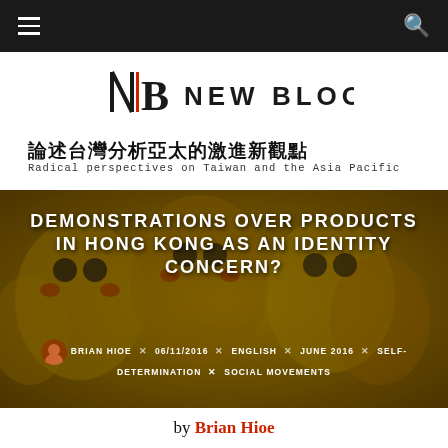☰  [navigation]  🔍
[Figure (logo): New Bloom magazine logo with stylized NB lettermark and text NEW BLOOM]
論述台灣分析亞太的激進新觀點
Radical perspectives on Taiwan and the Asia Pacific
[Figure (photo): Background photo of yellow Pikachu plush toys with dark overlay, showing article title DEMONSTRATIONS OVER PRODUCTS IN HONG KONG AS AN IDENTITY CONCERN? and metadata: BRIAN HIOE × 06/11/2016 × ENGLISH × JUNE 2016 × SELF-DETERMINATION × SOCIAL MOVEMENTS]
DEMONSTRATIONS OVER PRODUCTS IN HONG KONG AS AN IDENTITY CONCERN?
BRIAN HIOE × 06/11/2016 × ENGLISH × JUNE 2016 × SELF-DETERMINATION × SOCIAL MOVEMENTS
by Brian Hioe